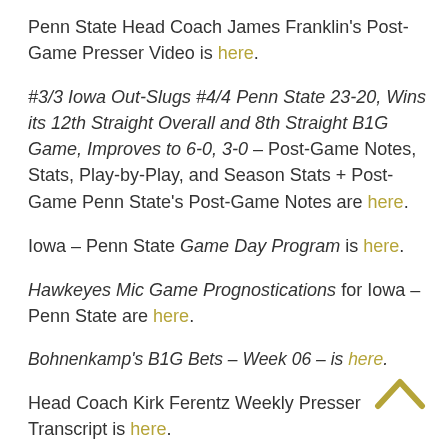Penn State Head Coach James Franklin's Post-Game Presser Video is here.
#3/3 Iowa Out-Slugs #4/4 Penn State 23-20, Wins its 12th Straight Overall and 8th Straight B1G Game, Improves to 6-0, 3-0 – Post-Game Notes, Stats, Play-by-Play, and Season Stats + Post-Game Penn State's Post-Game Notes are here.
Iowa – Penn State Game Day Program is here.
Hawkeyes Mic Game Prognostications for Iowa – Penn State are here.
Bohnenkamp's B1G Bets – Week 06 – is here.
Head Coach Kirk Ferentz Weekly Presser Transcript is here.
Watch Iowa Head Coach Kirk Ferentz's Weekly Presser +